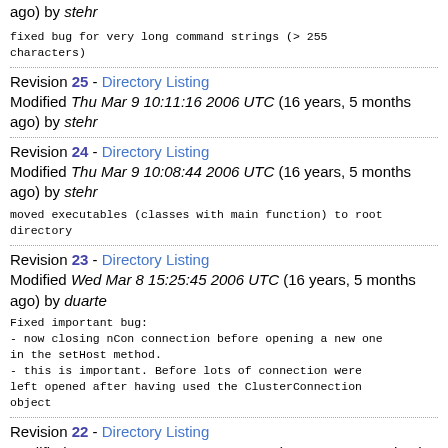ago) by stehr
fixed bug for very long command strings (> 255 characters)
Revision 25 - Directory Listing
Modified Thu Mar 9 10:11:16 2006 UTC (16 years, 5 months ago) by stehr
Revision 24 - Directory Listing
Modified Thu Mar 9 10:08:44 2006 UTC (16 years, 5 months ago) by stehr
moved executables (classes with main function) to root directory
Revision 23 - Directory Listing
Modified Wed Mar 8 15:25:45 2006 UTC (16 years, 5 months ago) by duarte
Fixed important bug:
- now closing nCon connection before opening a new one in the setHost method.
- this is important. Before lots of connection were left opened after having used the ClusterConnection object
Revision 22 - Directory Listing
Modified Tue Mar 7 10:00:07 2006 UTC (16 years, 5 months...